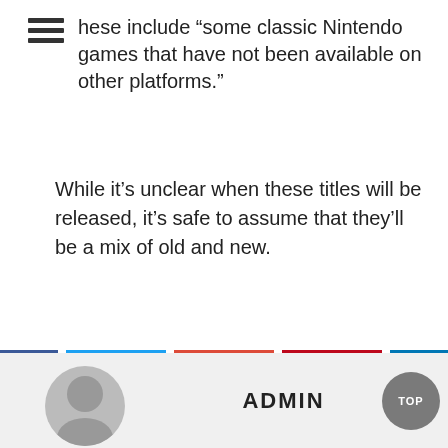[Figure (other): Hamburger menu icon with three horizontal bars]
hese include “some classic Nintendo games that have not been available on other platforms.”
While it’s unclear when these titles will be released, it’s safe to assume that they’ll be a mix of old and new.
[Figure (other): Social share buttons: Facebook, Twitter, Google+, Pinterest, LinkedIn, and Email]
ADMIN